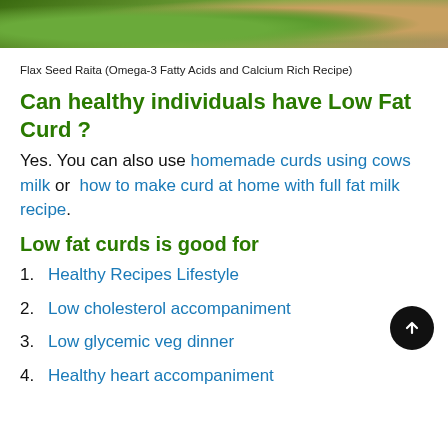[Figure (photo): Partial photo of green leafy vegetables and seeds/grains on a wooden surface]
Flax Seed Raita (Omega-3 Fatty Acids and Calcium Rich Recipe)
Can healthy individuals have Low Fat Curd ?
Yes. You can also use homemade curds using cows milk or  how to make curd at home with full fat milk recipe.
Low fat curds is good for
1. Healthy Recipes Lifestyle
2. Low cholesterol accompaniment
3. Low glycemic veg dinner
4. Healthy heart accompaniment